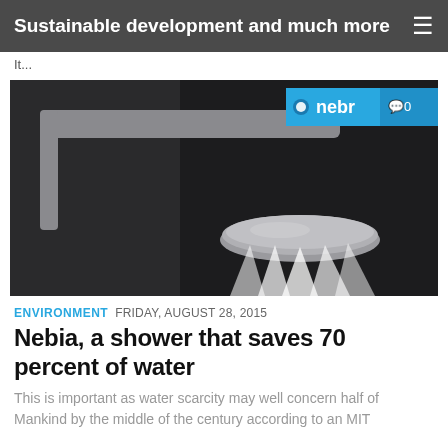Sustainable development and much more
It...
[Figure (photo): A modern shower head (Nebia brand) mounted on a gray rail, spraying water in a fine mist pattern against a dark background. The Nebia logo overlay is visible in the top right corner along with a comment count badge showing 0.]
ENVIRONMENT  FRIDAY, AUGUST 28, 2015
Nebia, a shower that saves 70 percent of water
This is important as water scarcity may well concern half of Mankind by the middle of the century according to an MIT